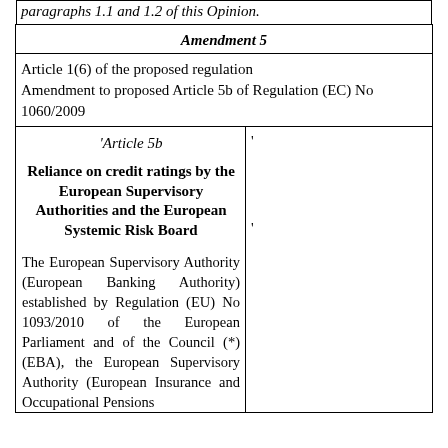paragraphs 1.1 and 1.2 of this Opinion.
| Amendment 5 |
| Article 1(6) of the proposed regulation
Amendment to proposed Article 5b of Regulation (EC) No 1060/2009 |
| 'Article 5b
Reliance on credit ratings by the European Supervisory Authorities and the European Systemic Risk Board
The European Supervisory Authority (European Banking Authority) established by Regulation (EU) No 1093/2010 of the European Parliament and of the Council (*) (EBA), the European Supervisory Authority (European Insurance and Occupational Pensions ... | ' |